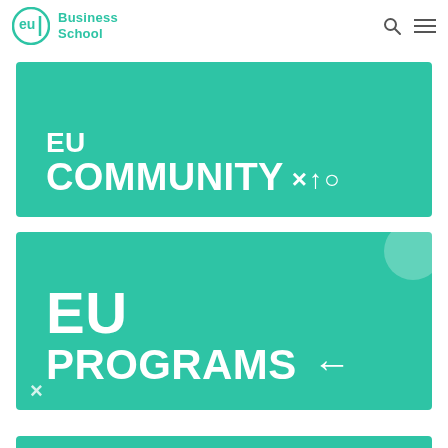EU Business School
[Figure (infographic): Teal/green banner with white bold text reading 'EU COMMUNITY' with decorative symbols (x, arrow up, circle)]
[Figure (infographic): Teal/green banner with white bold text reading 'EU PROGRAMS' with a left-arrow symbol, decorative circle top-right and x symbol bottom-left]